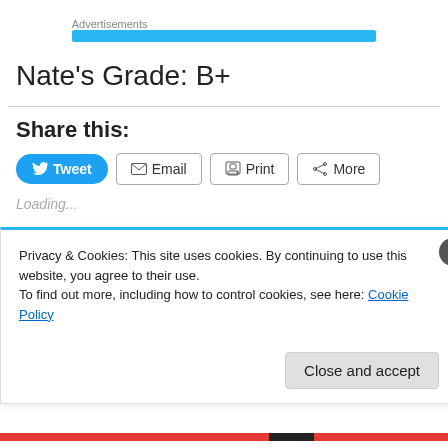Advertisements
Nate's Grade: B+
Share this:
Tweet  Email  Print  More
Loading...
Privacy & Cookies: This site uses cookies. By continuing to use this website, you agree to their use.
To find out more, including how to control cookies, see here: Cookie Policy
Close and accept